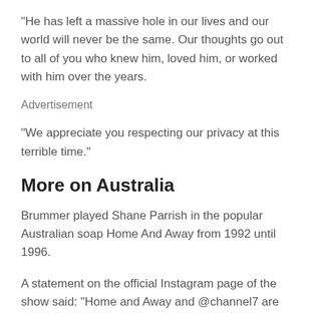“He has left a massive hole in our lives and our world will never be the same. Our thoughts go out to all of you who knew him, loved him, or worked with him over the years.
Advertisement
“We appreciate you respecting our privacy at this terrible time.”
More on Australia
Brummer played Shane Parrish in the popular Australian soap Home And Away from 1992 until 1996.
A statement on the official Instagram page of the show said: “Home and Away and @channel7 are deeply